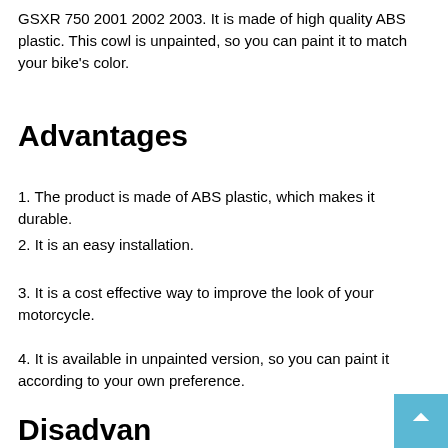GSXR 750 2001 2002 2003. It is made of high quality ABS plastic. This cowl is unpainted, so you can paint it to match your bike's color.
Advantages
1. The product is made of ABS plastic, which makes it durable.
2. It is an easy installation.
3. It is a cost effective way to improve the look of your motorcycle.
4. It is available in unpainted version, so you can paint it according to your own preference.
Disadvantages